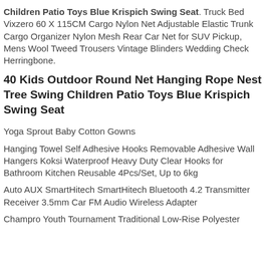Children Patio Toys Blue Krispich Swing Seat. Truck Bed Vixzero 60 X 115CM Cargo Nylon Net Adjustable Elastic Trunk Cargo Organizer Nylon Mesh Rear Car Net for SUV Pickup, Mens Wool Tweed Trousers Vintage Blinders Wedding Check Herringbone.
40 Kids Outdoor Round Net Hanging Rope Nest Tree Swing Children Patio Toys Blue Krispich Swing Seat
Yoga Sprout Baby Cotton Gowns
Hanging Towel Self Adhesive Hooks Removable Adhesive Wall Hangers Koksi Waterproof Heavy Duty Clear Hooks for Bathroom Kitchen Reusable 4Pcs/Set, Up to 6kg
Auto AUX SmartHitech SmartHitech Bluetooth 4.2 Transmitter Receiver 3.5mm Car FM Audio Wireless Adapter
Champro Youth Tournament Traditional Low-Rise Polyester